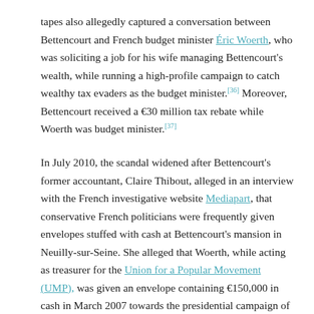tapes also allegedly captured a conversation between Bettencourt and French budget minister Éric Woerth, who was soliciting a job for his wife managing Bettencourt's wealth, while running a high-profile campaign to catch wealthy tax evaders as the budget minister.[36] Moreover, Bettencourt received a €30 million tax rebate while Woerth was budget minister.[37]
In July 2010, the scandal widened after Bettencourt's former accountant, Claire Thibout, alleged in an interview with the French investigative website Mediapart, that conservative French politicians were frequently given envelopes stuffed with cash at Bettencourt's mansion in Neuilly-sur-Seine. She alleged that Woerth, while acting as treasurer for the Union for a Popular Movement (UMP), was given an envelope containing €150,000 in cash in March 2007 towards the presidential campaign of Nicolas Sarkozy. She also made, that noted a claim that Sarkozy was a frequent visitor to